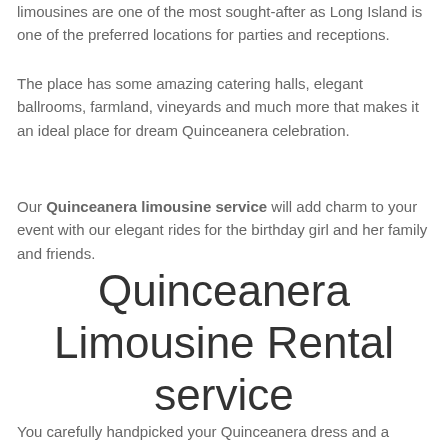limousines are one of the most sought-after as Long Island is one of the preferred locations for parties and receptions.
The place has some amazing catering halls, elegant ballrooms, farmland, vineyards and much more that makes it an ideal place for dream Quinceanera celebration.
Our Quinceanera limousine service will add charm to your event with our elegant rides for the birthday girl and her family and friends.
Quinceanera Limousine Rental service
You carefully handpicked your Quinceanera dress and a perfect